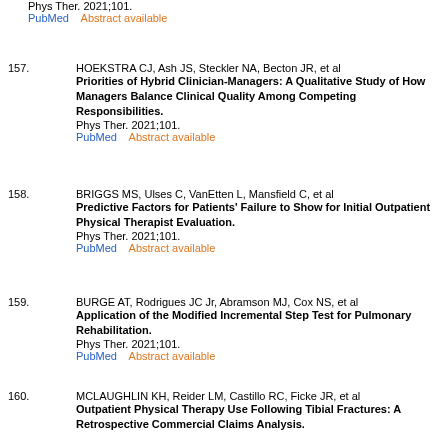Phys Ther. 2021;101.
PubMed    Abstract available
157. HOEKSTRA CJ, Ash JS, Steckler NA, Becton JR, et al
Priorities of Hybrid Clinician-Managers: A Qualitative Study of How Managers Balance Clinical Quality Among Competing Responsibilities.
Phys Ther. 2021;101.
PubMed    Abstract available
158. BRIGGS MS, Ulses C, VanEtten L, Mansfield C, et al
Predictive Factors for Patients' Failure to Show for Initial Outpatient Physical Therapist Evaluation.
Phys Ther. 2021;101.
PubMed    Abstract available
159. BURGE AT, Rodrigues JC Jr, Abramson MJ, Cox NS, et al
Application of the Modified Incremental Step Test for Pulmonary Rehabilitation.
Phys Ther. 2021;101.
PubMed    Abstract available
160. MCLAUGHLIN KH, Reider LM, Castillo RC, Ficke JR, et al
Outpatient Physical Therapy Use Following Tibial Fractures: A Retrospective Commercial Claims Analysis.
Phys Ther. 2021;101.
PubMed    Abstract available